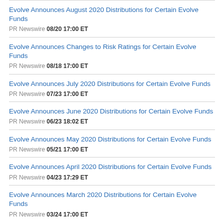Evolve Announces August 2020 Distributions for Certain Evolve Funds
PR Newswire 08/20 17:00 ET
Evolve Announces Changes to Risk Ratings for Certain Evolve Funds
PR Newswire 08/18 17:00 ET
Evolve Announces July 2020 Distributions for Certain Evolve Funds
PR Newswire 07/23 17:00 ET
Evolve Announces June 2020 Distributions for Certain Evolve Funds
PR Newswire 06/23 18:02 ET
Evolve Announces May 2020 Distributions for Certain Evolve Funds
PR Newswire 05/21 17:00 ET
Evolve Announces April 2020 Distributions for Certain Evolve Funds
PR Newswire 04/23 17:29 ET
Evolve Announces March 2020 Distributions for Certain Evolve Funds
PR Newswire 03/24 17:00 ET